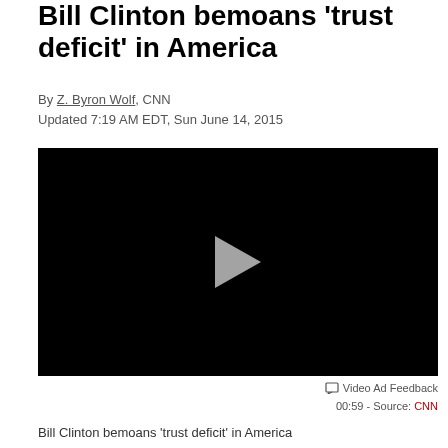Bill Clinton bemoans 'trust deficit' in America
By Z. Byron Wolf, CNN
Updated 7:19 AM EDT, Sun June 14, 2015
[Figure (screenshot): Black video player with gray play button in center]
Video Ad Feedback
00:59 - Source: CNN
Bill Clinton bemoans 'trust deficit' in America